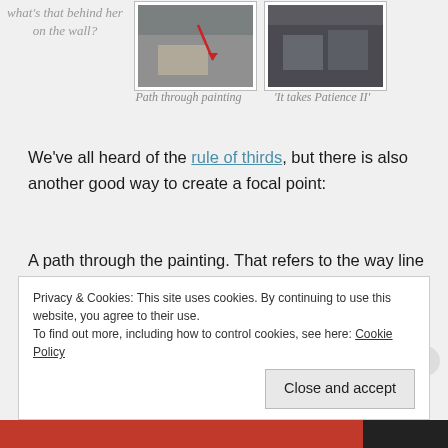what's that behind her on the wall?
[Figure (photo): Painting with red arrow overlay indicating path through painting]
[Figure (photo): Dark painting titled 'It takes Patience II']
Path through painting
'It takes Patience II'
We've all heard of the rule of thirds, but there is also another good way to create a focal point:
A path through the painting. That refers to the way line work creates a dynamic path that leads the eye around the painting. I often use it as it makes for a very interesting composition. When out in nature we have to look for these things. I think they are
Privacy & Cookies: This site uses cookies. By continuing to use this website, you agree to their use.
To find out more, including how to control cookies, see here: Cookie Policy
Close and accept